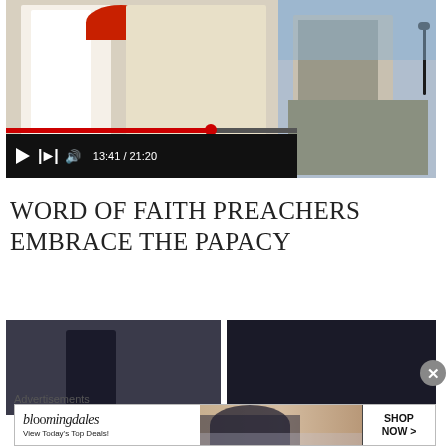[Figure (screenshot): Video player screenshot showing a religious ceremony at Mexico City Basilica of Our Lady of Guadalupe on August 2, 2002, with canonization of Juan Bautista and Jacinto de los Angeles. Video timestamp shows 13:41 / 21:20. Right side shows a man speaking at a podium.]
August 2, 2002, Mexico City Basilica of Our Lady of Guadalupe
To salgadangan: Juan Bautista ng Jacinto de los Angeles
WORD OF FAITH PREACHERS EMBRACE THE PAPACY
[Figure (screenshot): Article thumbnail image showing two people in dark setting, split into two panels]
Advertisements
[Figure (screenshot): Bloomingdale's advertisement: 'bloomingdales - View Today's Top Deals!' with woman in hat and SHOP NOW > button]